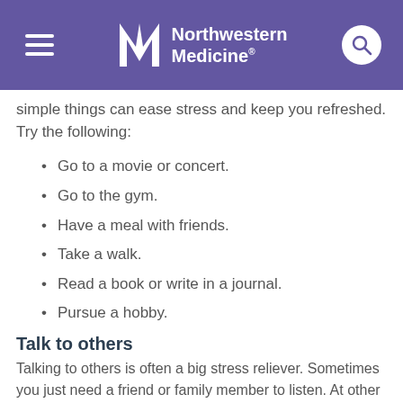Northwestern Medicine
simple things can ease stress and keep you refreshed. Try the following:
Go to a movie or concert.
Go to the gym.
Have a meal with friends.
Take a walk.
Read a book or write in a journal.
Pursue a hobby.
Talk to others
Talking to others is often a big stress reliever. Sometimes you just need a friend or family member to listen. At other times, you may want